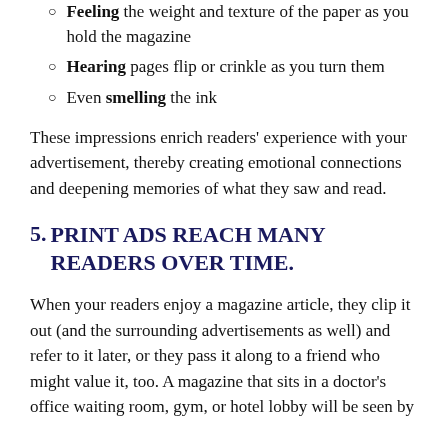Feeling the weight and texture of the paper as you hold the magazine
Hearing pages flip or crinkle as you turn them
Even smelling the ink
These impressions enrich readers' experience with your advertisement, thereby creating emotional connections and deepening memories of what they saw and read.
5. PRINT ADS REACH MANY READERS OVER TIME.
When your readers enjoy a magazine article, they clip it out (and the surrounding advertisements as well) and refer to it later, or they pass it along to a friend who might value it, too. A magazine that sits in a doctor's office waiting room, gym, or hotel lobby will be seen by